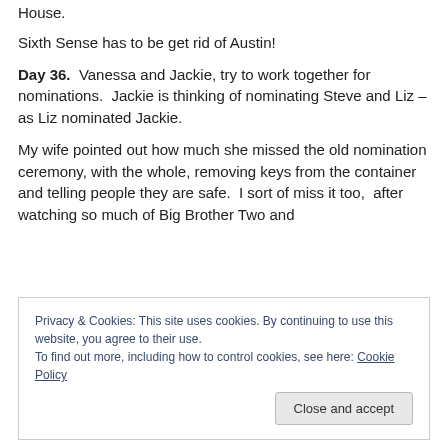...and only wants to hook up with Liz, in the Jury House.
Sixth Sense has to be get rid of Austin!
Day 36. Vanessa and Jackie, try to work together for nominations. Jackie is thinking of nominating Steve and Liz – as Liz nominated Jackie.
My wife pointed out how much she missed the old nomination ceremony, with the whole, removing keys from the container and telling people they are safe. I sort of miss it too, after watching so much of Big Brother Two and
Privacy & Cookies: This site uses cookies. By continuing to use this website, you agree to their use.
To find out more, including how to control cookies, see here: Cookie Policy
Close and accept